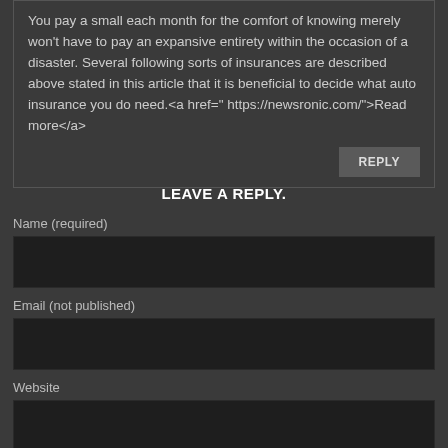You pay a small each month for the comfort of knowing merely won't have to pay an expansive entirety within the occasion of a disaster. Several following sorts of insurances are described above stated in this article that it is beneficial to decide what auto insurance you do need.<a href=" https://newsronic.com/">Read more</a>
REPLY
LEAVE A REPLY.
Name (required)
Email (not published)
Website
Comments (required)